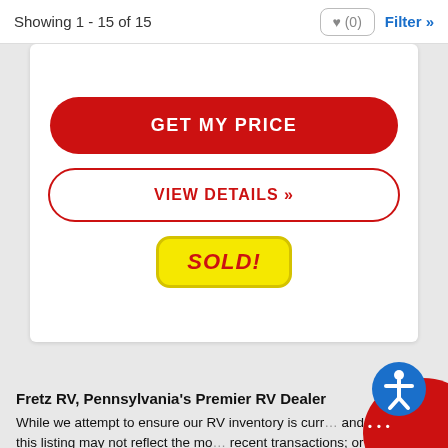Showing 1 - 15 of 15 | ♥ (0) | Filter »
[Figure (screenshot): Card with GET MY PRICE red button, VIEW DETAILS red outline button, and SOLD! yellow badge]
Fretz RV, Pennsylvania's Premier RV Dealer
While we attempt to ensure our RV inventory is current and accurate, this listing may not reflect the most recent transactions; or may reflect occasional data entry errors. We highly recommend you contact...